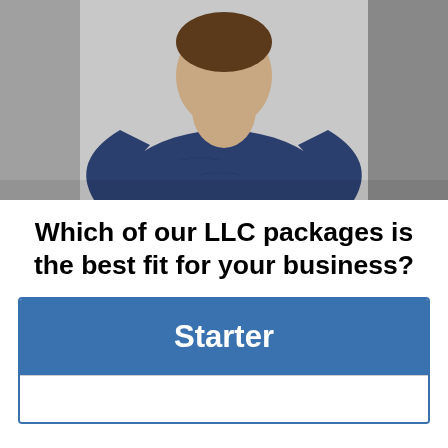[Figure (photo): Photo of a person wearing a dark navy blue sweatshirt, cropped at the torso, with a blurred background]
Which of our LLC packages is the best fit for your business?
| Starter |
| --- |
|  |